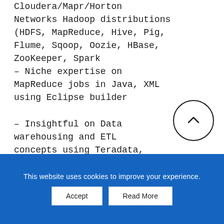Cloudera/Mapr/Horton Networks Hadoop distributions (HDFS, MapReduce, Hive, Pig, Flume, Sqoop, Oozie, HBase, ZooKeeper, Spark
– Niche expertise on MapReduce jobs in Java, XML using Eclipse builder
– Insightful on Data warehousing and ETL concepts using Teradata, Cognos, Pentaho.
This website uses cookies to improve your experience.
Accept | Read More